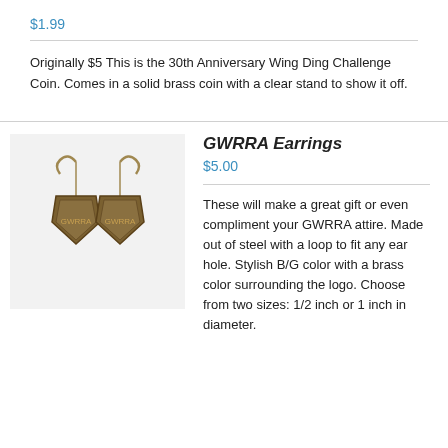$1.99
Originally $5 This is the 30th Anniversary Wing Ding Challenge Coin.  Comes in a solid brass coin with a clear stand to show it off.
GWRRA Earrings
$5.00
[Figure (photo): Photo of GWRRA earrings — two dangling earrings with brass-colored shield-shaped GWRRA logo charms on hooks.]
These will make a great gift or even compliment your GWRRA attire.  Made out of steel with a loop to fit any ear hole.  Stylish B/G color with a brass color surrounding the logo. Choose from two sizes: 1/2 inch or 1 inch in diameter.